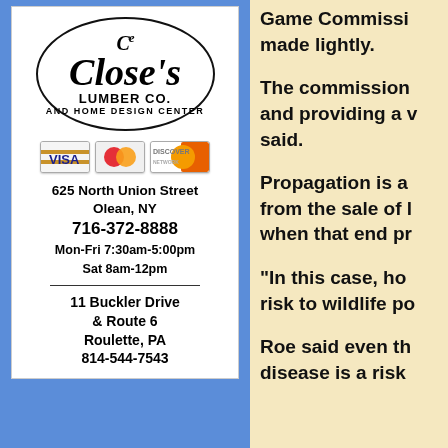[Figure (illustration): Advertisement for Close's Lumber Co. and Home Design Center. Shows oval logo with cursive 'Close's' text, LUMBER CO. and AND HOME DESIGN CENTER text. Visa, Mastercard, and Discover credit card logos. Address: 625 North Union Street, Olean, NY 716-372-8888, Mon-Fri 7:30am-5:00pm, Sat 8am-12pm. Second location: 11 Buckler Drive & Route 6, Roulette, PA 814-544-7543.]
Game Commission made lightly.

The commission and providing a v said.

Propagation is a from the sale of l when that end pr

"In this case, how risk to wildlife po

Roe said even th disease is a risk